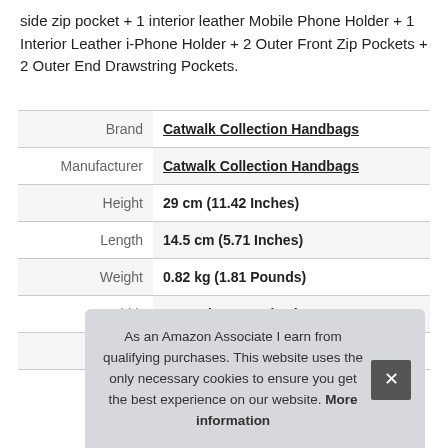side zip pocket + 1 interior leather Mobile Phone Holder + 1 Interior Leather i-Phone Holder + 2 Outer Front Zip Pockets + 2 Outer End Drawstring Pockets.
|  |  |
| --- | --- |
| Brand | Catwalk Collection Handbags |
| Manufacturer | Catwalk Collection Handbags |
| Height | 29 cm (11.42 Inches) |
| Length | 14.5 cm (5.71 Inches) |
| Weight | 0.82 kg (1.81 Pounds) |
| Width | 34 cm (13.39 Inches) |
| P |  |
As an Amazon Associate I earn from qualifying purchases. This website uses the only necessary cookies to ensure you get the best experience on our website. More information